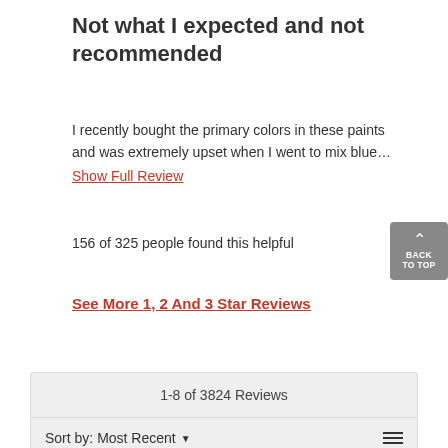Not what I expected and not recommended
I recently bought the primary colors in these paints and was extremely upset when I went to mix blue…
Show Full Review
156 of 325 people found this helpful
See More 1, 2 And 3 Star Reviews
1-8 of 3824 Reviews
Sort by: Most Recent
★★★★★  Verified Purchaser  Anonymous · 16 hours ago